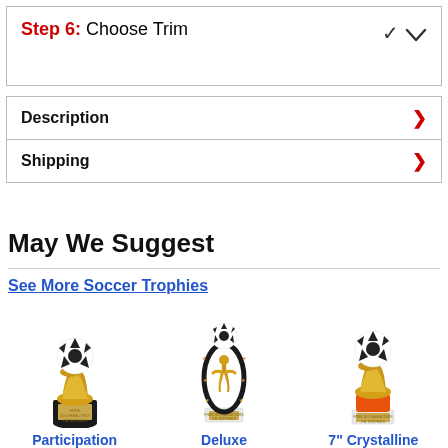Step 6: Choose Trim
Description
Shipping
May We Suggest
See More Soccer Trophies
[Figure (photo): Three soccer trophies: Participation trophy (gold soccer boot with ball on top, black base with engraving plate), Deluxe trophy (black oval frame with gold soccer player figure and soccer ball on top, white base), 7-inch Crystalline trophy (gold boot holding soccer ball on orange and white base with engraving plate)]
Participation    Deluxe    7" Crystalline